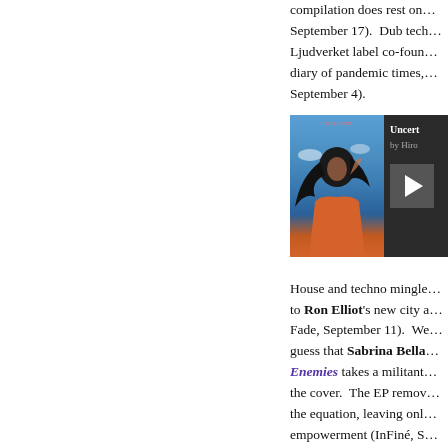compilation does rest on... September 17).  Dub tech... Ljudverket label co-foun... diary of pandemic times, ... September 4).
[Figure (photo): Album artwork showing a person with long dark hair against a blue sky, wearing an orange top. Next to it is a dark player panel showing title 'Uncert...' by 'Hiro...' with a play button.]
House and techno mingle... to Ron Elliot's new city a... Fade, September 11).  We... guess that Sabrina Bella... Enemies takes a militant... the cover.  The EP remov... the equation, leaving onl... empowerment (InFiné, S...